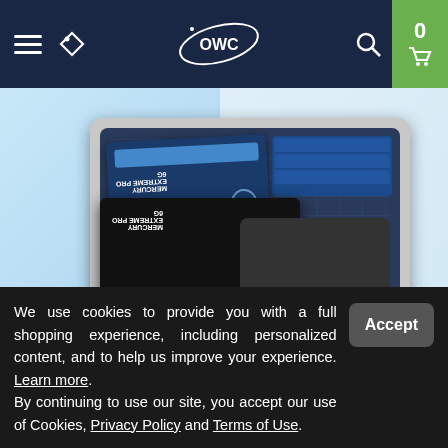OWC navigation bar with hamburger menu, tag icon, OWC logo, search icon, and cart with 0 items
[Figure (photo): OWC Data Doubler product photo showing MacBook internals with Mercury Extreme Pro 6G SSD drives installed, on light blue background]
Drives
OWC Data Doubler
Add a second drive inside your MacBook Pro, MacBook, iMac, or Mac mini.
We use cookies to provide you with a full shopping experience, including personalized content, and to help us improve your experience. Learn more.
By continuing to use our site, you accept our use of Cookies, Privacy Policy and Terms of Use.